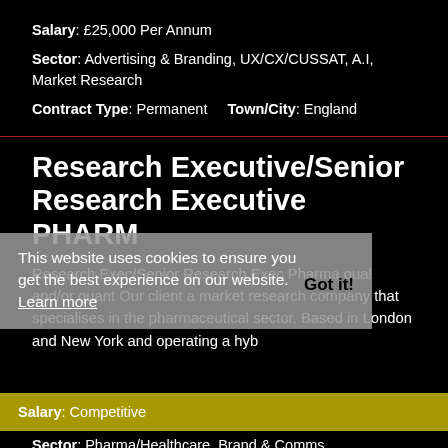Salary: £25,000 Per Annum
Sector: Advertising & Branding, UX/CX/CUSSAT, A.I, Market Research
Contract Type: Permanent    Town/City: England
Research Executive/Senior Research Executive PHARM
Research Exec/Senior Research Exec Pharma qual and/or quant Our client a market research company that specialises in the pharmaceutical sector. Based in London and New York and operating a hyb
This website uses cookies to ensure you get the best experience on our website. Learn more  Got it!
Salary: Competitive
Sector: Pharma/Healthcare, Brand & Comms, Qualitative, Quantitative
Contract Type: Permanent    Town/City: England